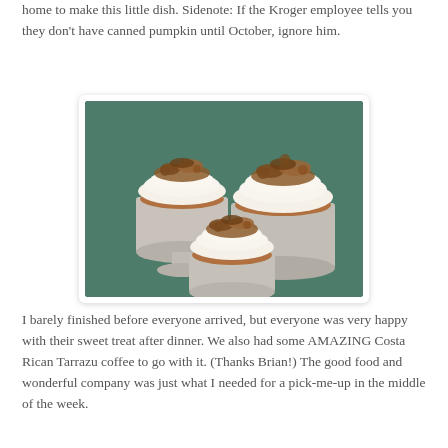home to make this little dish. Sidenote: If the Kroger employee tells you they don't have canned pumpkin until October, ignore him.
[Figure (photo): Three dessert cups filled with whipped cream and brown crumble topping, arranged on a green surface. Two larger cups in the back and one smaller cup in the front.]
I barely finished before everyone arrived, but everyone was very happy with their sweet treat after dinner. We also had some AMAZING Costa Rican Tarrazu coffee to go with it. (Thanks Brian!) The good food and wonderful company was just what I needed for a pick-me-up in the middle of the week.